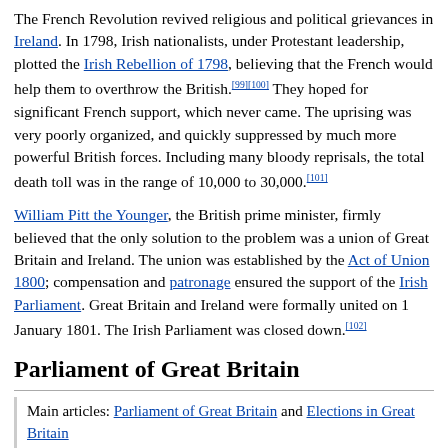The French Revolution revived religious and political grievances in Ireland. In 1798, Irish nationalists, under Protestant leadership, plotted the Irish Rebellion of 1798, believing that the French would help them to overthrow the British.[99][100] They hoped for significant French support, which never came. The uprising was very poorly organized, and quickly suppressed by much more powerful British forces. Including many bloody reprisals, the total death toll was in the range of 10,000 to 30,000.[101]
William Pitt the Younger, the British prime minister, firmly believed that the only solution to the problem was a union of Great Britain and Ireland. The union was established by the Act of Union 1800; compensation and patronage ensured the support of the Irish Parliament. Great Britain and Ireland were formally united on 1 January 1801. The Irish Parliament was closed down.[102]
Parliament of Great Britain
Main articles: Parliament of Great Britain and Elections in Great Britain
The Parliament of Great Britain consisted of the House of Lords (an unelected upper house of the Lords Spiritual and Temporal)